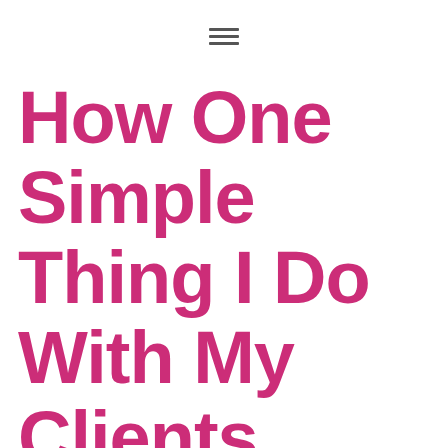[Figure (other): Hamburger menu icon with three horizontal lines]
How One Simple Thing I Do With My Clients Ensures That a Project Is Successful